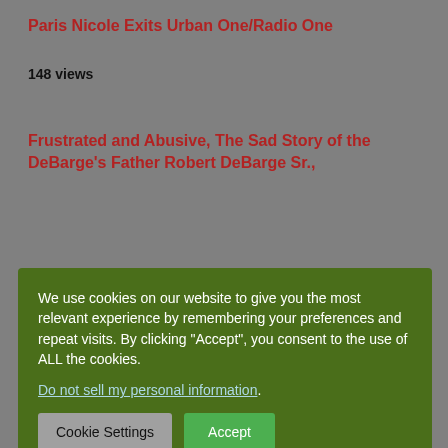Paris Nicole Exits Urban One/Radio One
148 views
Frustrated and Abusive, The Sad Story of the DeBarge's Father Robert DeBarge Sr.,
We use cookies on our website to give you the most relevant experience by remembering your preferences and repeat visits. By clicking “Accept”, you consent to the use of ALL the cookies. Do not sell my personal information. Cookie Settings Accept
[Figure (screenshot): Bottom section showing a dark background image area with a notification popup displaying 'HBCU ALUMNI & DIVINE 9 MEMBERS UNITE TO' posted 24 minutes ago, a blue bell icon with badge showing 3, a close X button, and 'RELATED ARTICLES' heading at bottom]